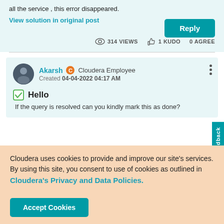all the service , this error disappeared.
View solution in original post
Reply
314 VIEWS  1 KUDO  0 AGREE
Akarsh  Cloudera Employee  Created  04-04-2022  04:17 AM
Hello
If the query is resolved can you kindly mark this as done?
Cloudera uses cookies to provide and improve our site's services. By using this site, you consent to use of cookies as outlined in Cloudera's Privacy and Data Policies.
Accept Cookies